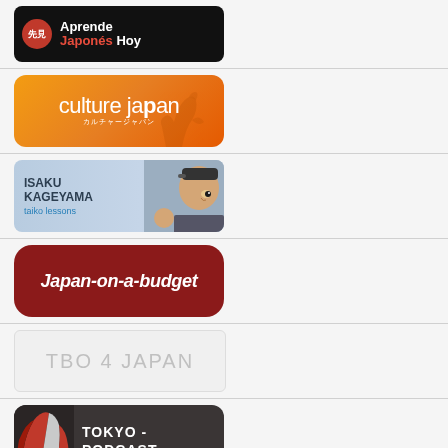[Figure (logo): Aprende Japonés Hoy podcast logo - black background with red kanji circle and white/red text]
[Figure (logo): Culture Japan logo - orange gradient background with white text and silhouette]
[Figure (logo): Isaku Kageyama taiko lessons logo - light blue background with person photo and dark text]
[Figure (logo): Japan-on-a-budget logo - dark red rounded rectangle with white italic text]
[Figure (logo): TBO 4 Japan logo - light gray text on white/gray background]
[Figure (logo): Tokyo Podcast logo - dark background with red fan graphic and white text]